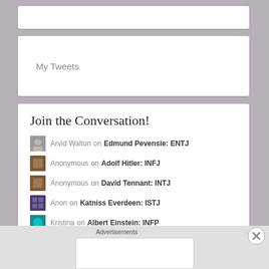My Tweets
Join the Conversation!
Arvid Walton on Edmund Pevensie: ENTJ
Anonymous on Adolf Hitler: INFJ
Anonymous on David Tennant: INTJ
Anon on Katniss Everdeen: ISTJ
Kristina on Albert Einstein: INFP
tort on Edmund Pevensie: ENTJ
Arvid Walton on Ender Wiggin as an Asexual Cha...
Advertisements